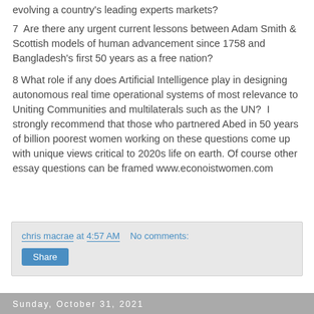evolving a country's leading experts markets?
7  Are there any urgent current lessons between Adam Smith & Scottish models of human advancement since 1758 and Bangladesh's first 50 years as a free nation?
8 What role if any does Artificial Intelligence play in designing autonomous real time operational systems of most relevance to Uniting Communities and multilaterals such as the UN?  I strongly recommend that those who partnered Abed in 50 years of billion poorest women working on these questions come up with unique views critical to 2020s life on earth. Of course other essay questions can be framed www.econoistwomen.com
chris macrae at 4:57 AM   No comments:
Share
Sunday, October 31, 2021